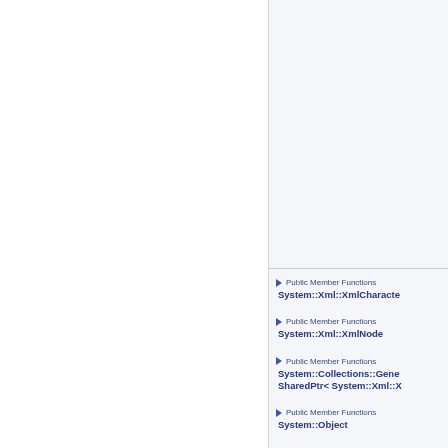Public Member Functions System::Xml::XmlCharacte...
Public Member Functions System::Xml::XmlNode
Public Member Functions System::Collections::Gene... SharedPtr< System::Xml::X...
Public Member Functions System::Object